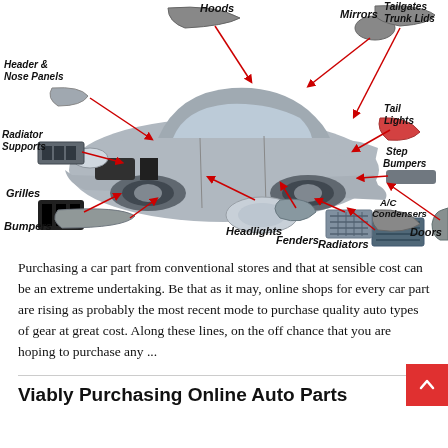[Figure (infographic): Car parts diagram showing a BMW sedan with labeled parts connected by red arrows: Hoods, Mirrors, Tailgates Trunk Lids, Header & Nose Panels, Tail Lights, Radiator Supports, Step Bumpers, Grilles, A/C Condensers, Bumpers, Headlights, Fenders, Radiators, Doors]
Purchasing a car part from conventional stores and that at sensible cost can be an extreme undertaking. Be that as it may, online shops for every car part are rising as probably the most recent mode to purchase quality auto types of gear at great cost. Along these lines, on the off chance that you are hoping to purchase any ...
Viably Purchasing Online Auto Parts